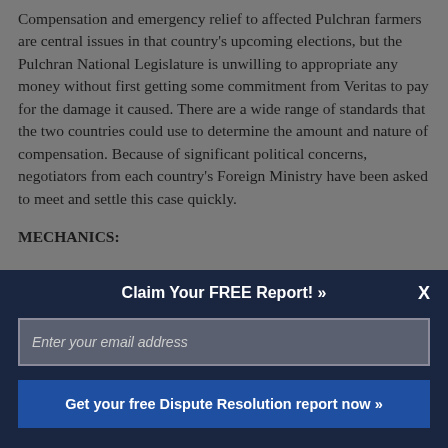Compensation and emergency relief to affected Pulchran farmers are central issues in that country's upcoming elections, but the Pulchran National Legislature is unwilling to appropriate any money without first getting some commitment from Veritas to pay for the damage it caused. There are a wide range of standards that the two countries could use to determine the amount and nature of compensation. Because of significant political concerns, negotiators from each country's Foreign Ministry have been asked to meet and settle this case quickly.
MECHANICS:
Claim Your FREE Report! »
Enter your email address
Get your free Dispute Resolution report now »